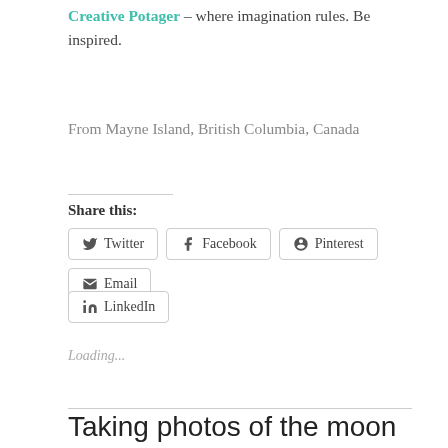Creative Potager – where imagination rules. Be inspired.
From Mayne Island, British Columbia, Canada
Share this:
Twitter  Facebook  Pinterest  Email  LinkedIn
Loading...
Taking photos of the moon